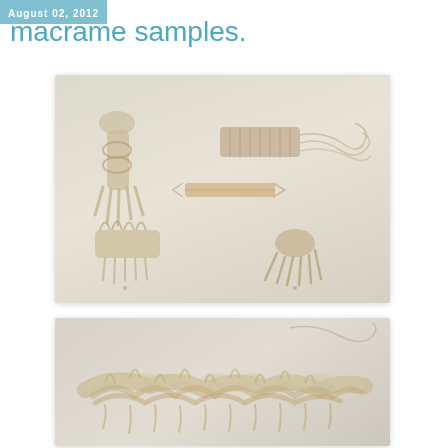August 02, 2012
macrame samples.
[Figure (photo): Six macrame knot and weaving samples laid out on a light surface: a knotted braid at top left, a woven rectangular piece with loose threads at top right, a flat braided strip in the middle, a looped fringe piece at lower left, and a knotted fringe cluster at lower right.]
[Figure (photo): A close-up of a large macrame woven piece with looping and knotted texture in cream/beige cord, laid flat on a light surface with a loose thread extending to the upper right.]